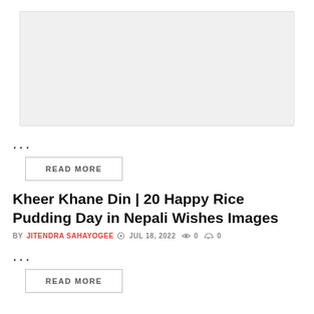[Figure (photo): Image placeholder / thumbnail for an article]
...
READ MORE
Kheer Khane Din | 20 Happy Rice Pudding Day in Nepali Wishes Images
BY JITENDRA SAHAYOGEE  JUL 18, 2022  0  0
...
READ MORE